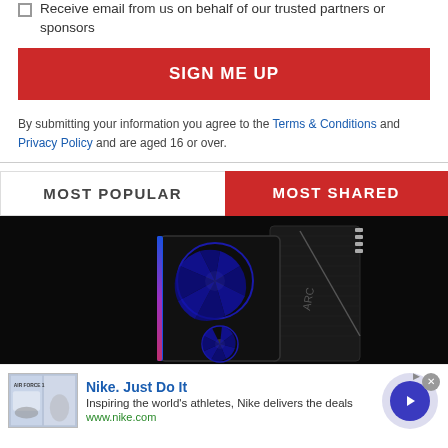Receive email from us on behalf of our trusted partners or sponsors
SIGN ME UP
By submitting your information you agree to the Terms & Conditions and Privacy Policy and are aged 16 or over.
MOST POPULAR
MOST SHARED
[Figure (photo): Intel Arc GPU graphics card on dark background]
Nike. Just Do It
Inspiring the world's athletes, Nike delivers the deals
www.nike.com